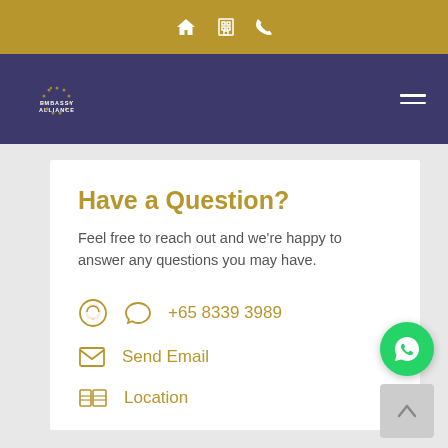Navigation icons: home, building, phone
[Figure (logo): Embassy Alliance logo with dotted circle and text on navy background]
Have a Question?
Feel free to reach out and we're happy to answer any questions you may have.
+65 8339 3989
Send Email
Location
[Figure (illustration): WhatsApp floating action button (green circle with phone icon)]